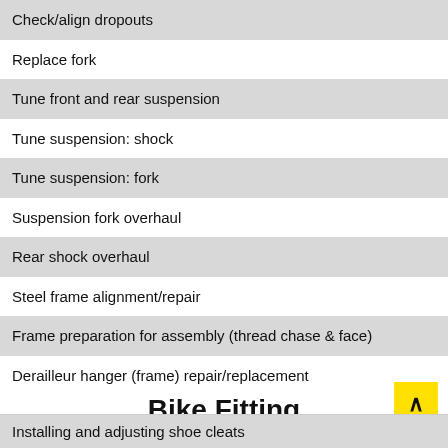Check/align dropouts
Replace fork
Tune front and rear suspension
Tune suspension: shock
Tune suspension: fork
Suspension fork overhaul
Rear shock overhaul
Steel frame alignment/repair
Frame preparation for assembly (thread chase & face)
Derailleur hanger (frame) repair/replacement
Bike Fitting
Installing and adjusting shoe cleats